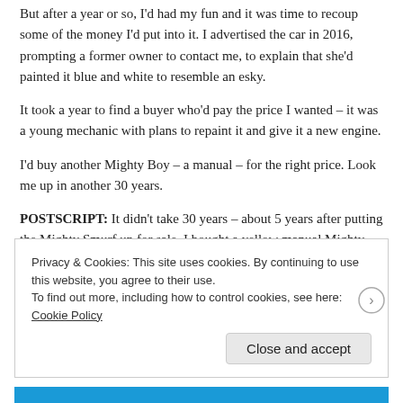But after a year or so, I'd had my fun and it was time to recoup some of the money I'd put into it. I advertised the car in 2016, prompting a former owner to contact me, to explain that she'd painted it blue and white to resemble an esky.
It took a year to find a buyer who'd pay the price I wanted – it was a young mechanic with plans to repaint it and give it a new engine.
I'd buy another Mighty Boy – a manual – for the right price. Look me up in another 30 years.
POSTSCRIPT: It didn't take 30 years – about 5 years after putting the Mighty Smurf up for sale, I bought a yellow manual Mighty Boy, called Daisy.
Privacy & Cookies: This site uses cookies. By continuing to use this website, you agree to their use. To find out more, including how to control cookies, see here: Cookie Policy
Close and accept